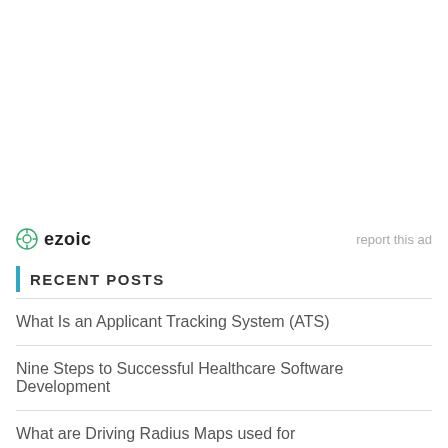[Figure (logo): Ezoic logo with circular icon and bold text 'ezoic', with 'report this ad' link on the right]
RECENT POSTS
What Is an Applicant Tracking System (ATS)
Nine Steps to Successful Healthcare Software Development
What are Driving Radius Maps used for
MOST POPULAR POSTS
How to Fix Unmet Dependencies Error on Ubu...